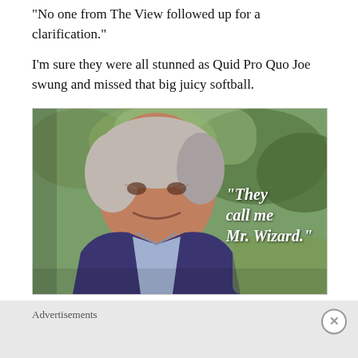"No one from The View followed up for a clarification."
I'm sure they were all stunned as Quid Pro Quo Joe swung and missed that big juicy softball.
[Figure (photo): Photo of an older man in a purple/blue blazer with light blue shirt, seated outdoors with green foliage in the background. Overlaid white italic bold text reads: "They call me Mr. Wizard."]
Advertisements